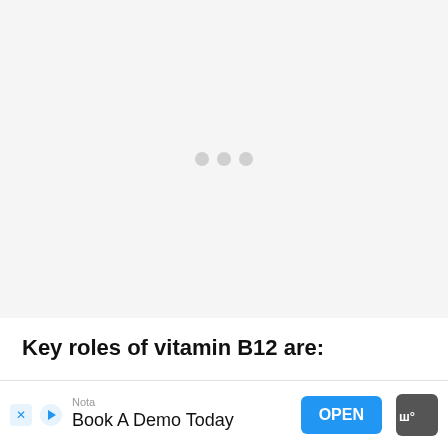[Figure (other): Video player placeholder with loading spinner (three gray dots) on a light gray background]
Key roles of vitamin B12 are:
Red blood cell production
H...